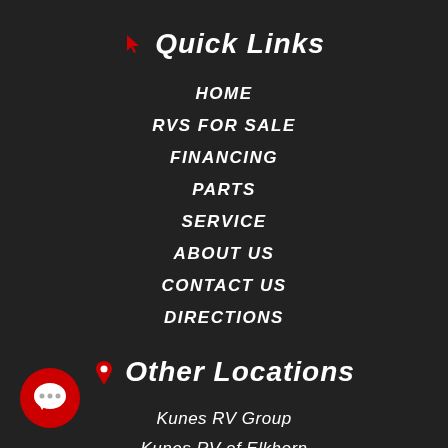Quick Links
HOME
RVS FOR SALE
FINANCING
PARTS
SERVICE
ABOUT US
CONTACT US
DIRECTIONS
Other Locations
Kunes RV Group
Kunes RV of Elkhorn
Kunes RV of Green Bay
[Figure (illustration): Red circular chat/messaging button with white speech bubble and three dots, positioned bottom left corner]